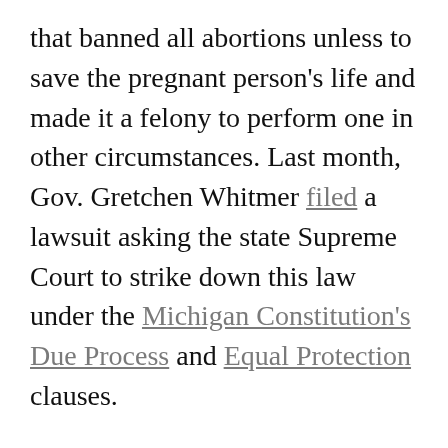that banned all abortions unless to save the pregnant person's life and made it a felony to perform one in other circumstances. Last month, Gov. Gretchen Whitmer filed a lawsuit asking the state Supreme Court to strike down this law under the Michigan Constitution's Due Process and Equal Protection clauses.
With signs reading “Protect safe, legal abortion,” “No forced birth” and “My uterus, my choice” in hand, attendees heard from various speakers on the importance of protecting abortion access in Michigan and nationwide. The chants “Bans off our bodies” and “We won’t go back” echoed along the Di…